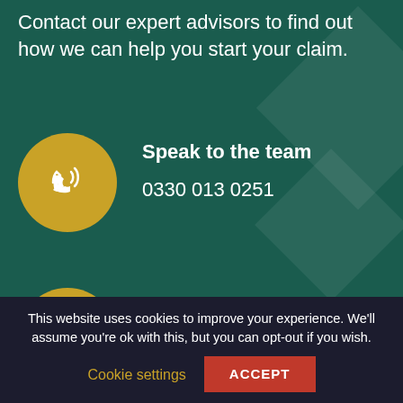Contact our expert advisors to find out how we can help you start your claim.
Speak to the team
0330 013 0251
Email us
enquiries@fs.co.uk
Strapped for time?
Book a callback
This website uses cookies to improve your experience. We'll assume you're ok with this, but you can opt-out if you wish.
Cookie settings
ACCEPT